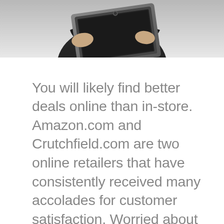[Figure (photo): Partial photo of a person in dark clothing holding up a laptop computer, cropped at the top of the page showing mostly the laptop and hands]
You will likely find better deals online than in-store. Amazon.com and Crutchfield.com are two online retailers that have consistently received many accolades for customer satisfaction. Worried about shipping costs? These sites often ship for free, especially if you spend over a specified dollar amount. Many people like to see and touch their devices in person, which can make online shopping less